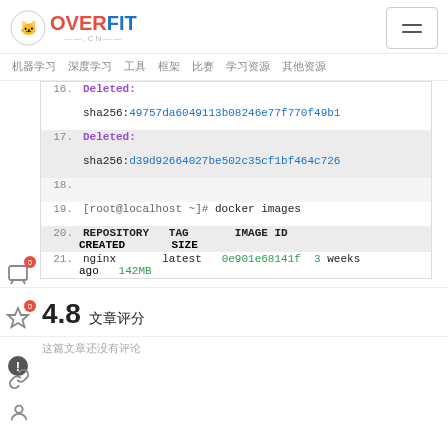OVERFIT.CN
机器学习  深度学习  工具  框架  比赛  学习资源  其他资源
16. Deleted:
    sha256:49757da6049113b08246e77f770f49b1
17. Deleted:
    sha256:d39d92664027be502c35cf1bf464c726
18.
19. [root@localhost ~]# docker images
20. REPOSITORY  TAG   IMAGE ID   CREATED   SIZE
21. nginx   latest   0e901e68141f   3 weeks ago   142MB
4.8 文章评分
这篇文章还没有评论